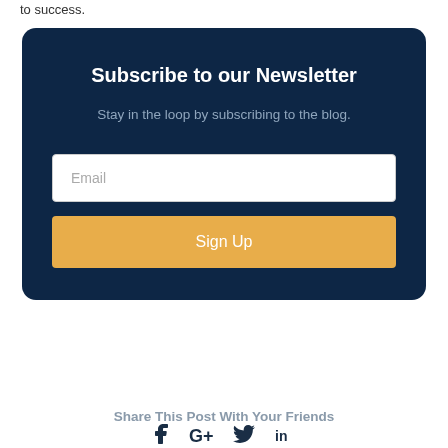to success.
Subscribe to our Newsletter
Stay in the loop by subscribing to the blog.
Email
Sign Up
Share This Post With Your Friends